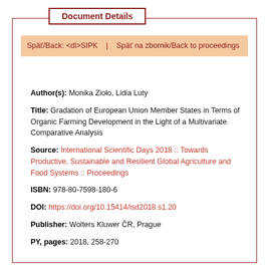Document Details
Späť/Back: <dl>SIPK  |  Späť na zbornik/Back to proceedings
Author(s): Monika Zioło, Lidia Luty
Title: Gradation of European Union Member States in Terms of Organic Farming Development in the Light of a Multivariate Comparative Analysis
Source: International Scientific Days 2018 :: Towards Productive, Sustainable and Resilient Global Agriculture and Food Systems :: Proceedings
ISBN: 978-80-7598-180-6
DOI: https://doi.org/10.15414/isd2018.s1.20
Publisher: Wolters Kluwer ČR, Prague
PY, pages: 2018, 258-270